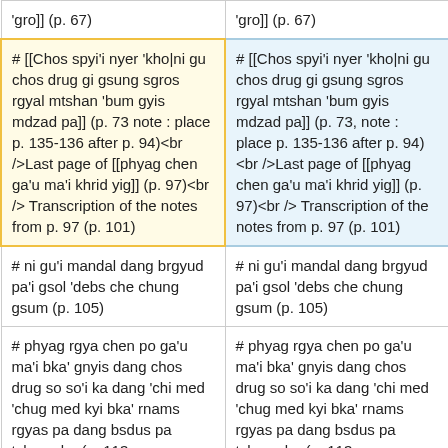| 'gro]] (p. 67) | 'gro]] (p. 67) |
| # [[Chos spyi'i nyer 'kho|ni gu chos drug gi gsung sgros rgyal mtshan 'bum gyis mdzad pa]] (p. 73 note : place p. 135-136 after p. 94)<br />Last page of [[phyag chen ga'u ma'i khrid yig]] (p. 97)<br /> Transcription of the notes from p. 97 (p. 101) | # [[Chos spyi'i nyer 'kho|ni gu chos drug gi gsung sgros rgyal mtshan 'bum gyis mdzad pa]] (p. 73, note : place p. 135-136 after p. 94)<br />Last page of [[phyag chen ga'u ma'i khrid yig]] (p. 97)<br /> Transcription of the notes from p. 97 (p. 101) |
| # ni gu'i mandal dang brgyud pa'i gsol 'debs che chung gsum (p. 105) | # ni gu'i mandal dang brgyud pa'i gsol 'debs che chung gsum (p. 105) |
| # phyag rgya chen po ga'u ma'i bka' gnyis dang chos drug so so'i ka dang 'chi med 'chug med kyi bka' rnams rgyas pa dang bsdus pa tshang ba (p. 113, pages missing, cut p. 120) <br />[[phyag chen ga'u ma'i khrid yig]] (p. 105, pages missing) | # phyag rgya chen po ga'u ma'i bka' gnyis dang chos drug so so'i ka dang 'chi med 'chug med kyi bka' rnams rgyas pa dang bsdus pa tshang ba (p. 113, pages missing, cut p. 120) <br />[[phyag chen ga'u ma'i khrid yig]] (p. 105, pages missing) |